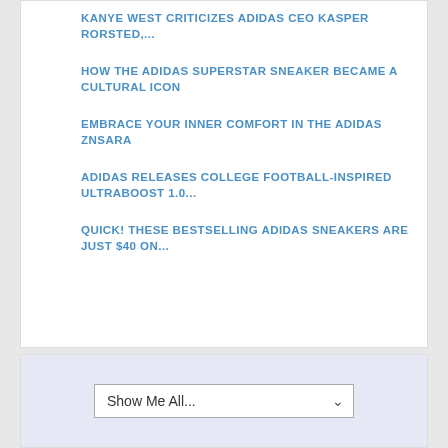KANYE WEST CRITICIZES ADIDAS CEO KASPER RORSTED,...
HOW THE ADIDAS SUPERSTAR SNEAKER BECAME A CULTURAL ICON
EMBRACE YOUR INNER COMFORT IN THE ADIDAS ZNSARA
ADIDAS RELEASES COLLEGE FOOTBALL-INSPIRED ULTRABOOST 1.0...
QUICK! THESE BESTSELLING ADIDAS SNEAKERS ARE JUST $40 ON...
Show Me All...